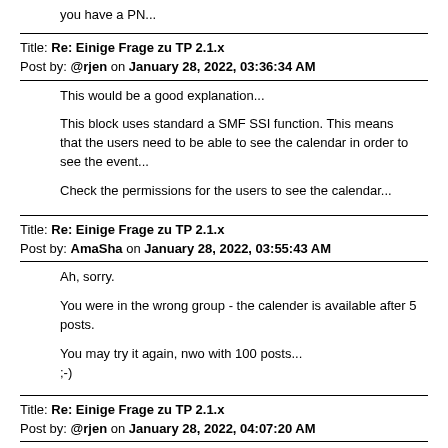you have a PN...
Title: Re: Einige Frage zu TP 2.1.x
Post by: @rjen on January 28, 2022, 03:36:34 AM
This would be a good explanation...
This block uses standard a SMF SSI function. This means that the users need to be able to see the calendar in order to see the event...
Check the permissions for the users to see the calendar...
Title: Re: Einige Frage zu TP 2.1.x
Post by: AmaSha on January 28, 2022, 03:55:43 AM
Ah, sorry.
You were in the wrong group - the calender is available after 5 posts.
You may try it again, nwo with 100 posts...
;-)
Title: Re: Einige Frage zu TP 2.1.x
Post by: @rjen on January 28, 2022, 04:07:20 AM